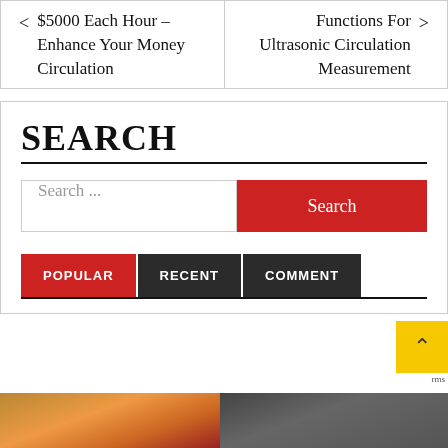< $5000 Each Hour – Enhance Your Money Circulation
Functions For Ultrasonic Circulation Measurement >
SEARCH
Search ...
POPULAR  RECENT  COMMENT